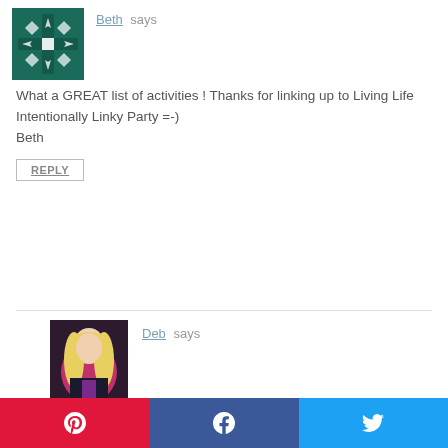[Figure (illustration): Snowflake/quilt-pattern avatar for Beth commenter]
Beth says
What a GREAT list of activities ! Thanks for linking up to Living Life Intentionally Linky Party =-) Beth
REPLY
[Figure (photo): Photo of Deb, a woman with long blonde hair in front of pink flowers]
Deb says
Thanks, Beth! I love doing online research, and it’s great that it’s so easy to share my finds now with blogging and Pinterest. 🙂
REPLY